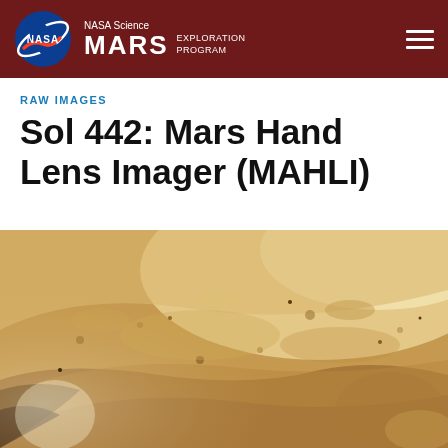NASA Science MARS EXPLORATION PROGRAM
RAW IMAGES
Sol 442: Mars Hand Lens Imager (MAHLI)
[Figure (photo): Close-up macro photograph taken by MAHLI camera showing Martian rock surface texture — sandy beige/tan colored layered rock with rough pitted texture, dust coating, and shadows. Warm reddish-brown tones. Mars surface geology detail.]